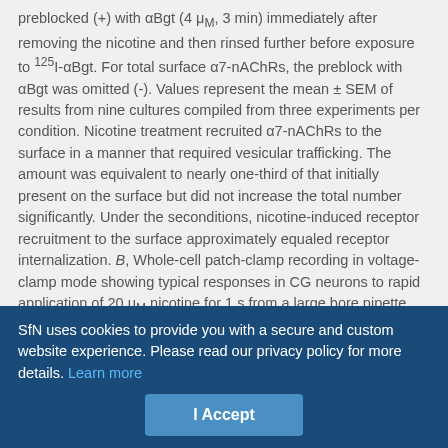preblocked (+) with αBgt (4 μM, 3 min) immediately after removing the nicotine and then rinsed further before exposure to 125I-αBgt. For total surface α7-nAChRs, the preblock with αBgt was omitted (-). Values represent the mean ± SEM of results from nine cultures compiled from three experiments per condition. Nicotine treatment recruited α7-nAChRs to the surface in a manner that required vesicular trafficking. The amount was equivalent to nearly one-third of that initially present on the surface but did not increase the total number significantly. Under the seconditions, nicotine-induced receptor recruitment to the surface approximately equaled receptor internalization. B, Whole-cell patch-clamp recording in voltage-clamp mode showing typical responses in CG neurons to rapid application of 20 μM nicotine for 1 s from a large bore pipette. The responses were elicited 20 min after the cells were incubated with nicotine (Nic) or nicotine plus BFA (Nic/BFA) as in A but omitting preblock with αBgt. Blockade of receptor trafficking with BFA had no obvious effect on the response.
In agreement with the (125I)αBgt-binding studies, patch-clamp recording indicated that the nicotine-induced whole-cell response did
SfN uses cookies to provide you with a secure and custom website experience. Please read our privacy policy for more details. Learn more